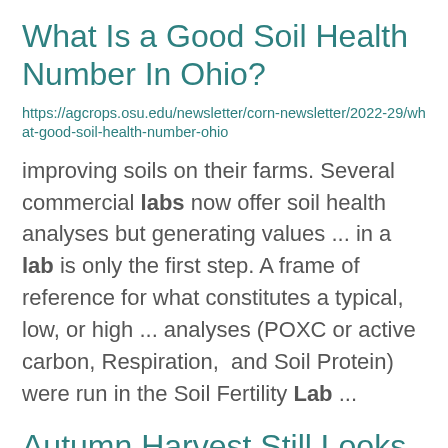What Is a Good Soil Health Number In Ohio?
https://agcrops.osu.edu/newsletter/corn-newsletter/2022-29/what-good-soil-health-number-ohio
improving soils on their farms. Several commercial labs now offer soil health analyses but generating values ... in a lab is only the first step. A frame of reference for what constitutes a typical, low, or high ... analyses (POXC or active carbon, Respiration,  and Soil Protein) were run in the Soil Fertility Lab ...
Autumn Harvest Still Looks